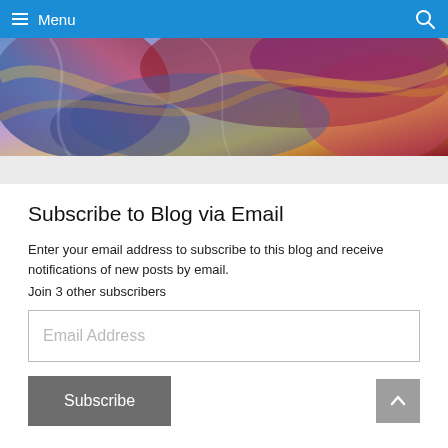Menu
[Figure (illustration): Colorful abstract/artistic banner image with swirling blues, reds, yellows and purples]
Subscribe to Blog via Email
Enter your email address to subscribe to this blog and receive notifications of new posts by email.
Join 3 other subscribers